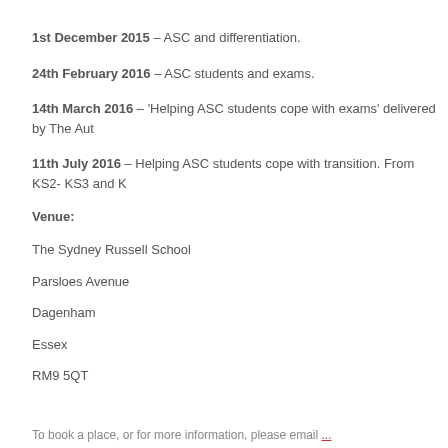1st December 2015 – ASC and differentiation.
24th February 2016 – ASC students and exams.
14th March 2016 – 'Helping ASC students cope with exams' delivered by The Aut
11th July 2016 – Helping ASC students cope with transition. From KS2- KS3 and K
Venue:
The Sydney Russell School
Parsloes Avenue
Dagenham
Essex
RM9 5QT
To book a place, or for more information, please email ...